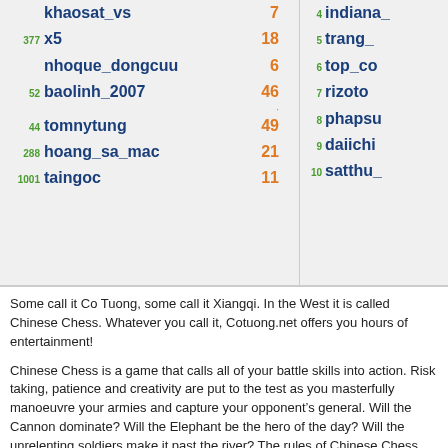| rank | player | score |
| --- | --- | --- |
|  | khaosat_vs | 7 |
| 377 | x5 | 18 |
|  | nhoque_dongcuu | 6 |
| 52 | baolinh_2007 | 46 |
| 44 | tomnytung | 49 |
| 288 | hoang_sa_mac | 21 |
| 1001 | taingoc | 11 |
| rank | player |
| --- | --- |
| 4 | indiana_... |
| 5 | trang_... |
| 6 | top_co... |
| 7 | rizoto... |
| 8 | phapsu... |
| 9 | daiichi... |
| 10 | satthu_... |
Some call it Co Tuong, some call it Xiangqi. In the West it is called Chinese Chess. Whatever you call it, Cotuong.net offers you hours of entertainment!
Chinese Chess is a game that calls all of your battle skills into action. Risk taking, patience and creativity are put to the test as you masterfully manoeuvre your armies and capture your opponent's general. Will the Cannon dominate? Will the Elephant be the hero of the day? Will the unrelenting soldiers make it past the river? The rules of Chinese Chess are consistent, but each time you play you will have a new and rewarding game experience. The Horse may dodge the Cannon, the general or an Elephant may be cowered by a horse.
Xiangqi is fun, educational, and exciting. It is a real workout for the brain. No wo... you too can experience the world of Chinese Chess. The ancient art of Xiangqi is ...
Raise your army, plan a strategy, and play Cotuong online on a site that brings you...